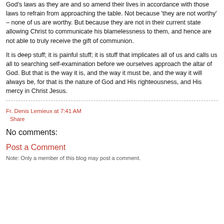God's laws as they are and so amend their lives in accordance with those laws to refrain from approaching the table. Not because 'they are not worthy' – none of us are worthy. But because they are not in their current state allowing Christ to communicate his blamelessness to them, and hence are not able to truly receive the gift of communion.
It is deep stuff; it is painful stuff; it is stuff that implicates all of us and calls us all to searching self-examination before we ourselves approach the altar of God. But that is the way it is, and the way it must be, and the way it will always be, for that is the nature of God and His righteousness, and His mercy in Christ Jesus.
Fr. Denis Lemieux at 7:41 AM
Share
No comments:
Post a Comment
Note: Only a member of this blog may post a comment.